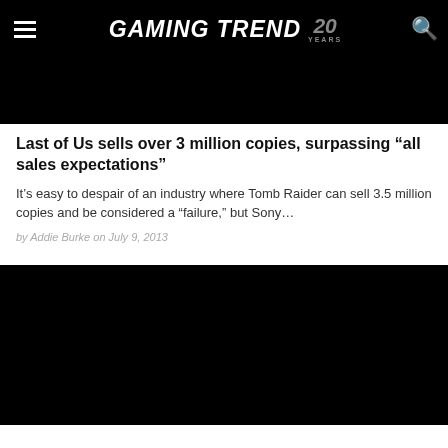GAMING TREND 20 YEARS
[Figure (photo): Dark/black image area at top of article]
Last of Us sells over 3 million copies, surpassing “all sales expectations”
It’s easy to despair of an industry where Tomb Raider can sell 3.5 million copies and be considered a “failure,” but Sony…
by Addie Burke on July 9, 2013
[Figure (photo): Dark/black image area at bottom of page]